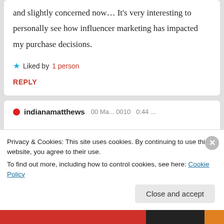and slightly concerned now… It's very interesting to personally see how influencer marketing has impacted my purchase decisions.
★ Liked by 1 person
REPLY
● indianamatthews  [date/time partially visible]
Privacy & Cookies: This site uses cookies. By continuing to use this website, you agree to their use.
To find out more, including how to control cookies, see here: Cookie Policy
Close and accept